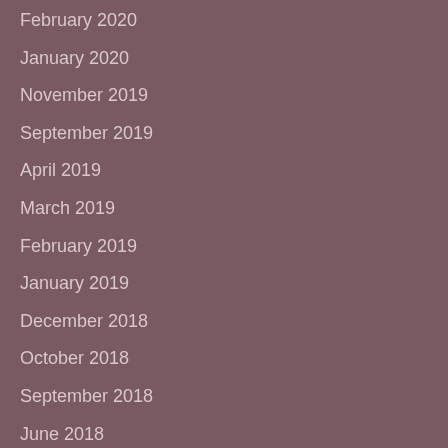February 2020
January 2020
November 2019
September 2019
April 2019
March 2019
February 2019
January 2019
December 2018
October 2018
September 2018
June 2018
May 2018
April 2018
March 2018